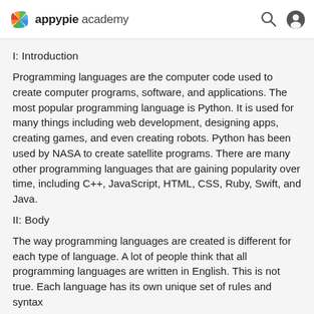appypie academy
I: Introduction
Programming languages are the computer code used to create computer programs, software, and applications. The most popular programming language is Python. It is used for many things including web development, designing apps, creating games, and even creating robots. Python has been used by NASA to create satellite programs. There are many other programming languages that are gaining popularity over time, including C++, JavaScript, HTML, CSS, Ruby, Swift, and Java.
II: Body
The way programming languages are created is different for each type of language. A lot of people think that all programming languages are written in English. This is not true. Each language has its own unique set of rules and syntax.